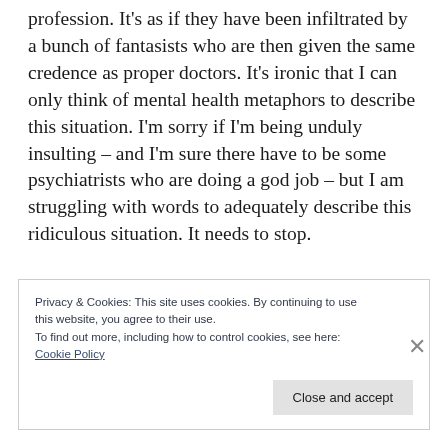profession. It's as if they have been infiltrated by a bunch of fantasists who are then given the same credence as proper doctors. It's ironic that I can only think of mental health metaphors to describe this situation. I'm sorry if I'm being unduly insulting – and I'm sure there have to be some psychiatrists who are doing a god job – but I am struggling with words to adequately describe this ridiculous situation. It needs to stop.
Privacy & Cookies: This site uses cookies. By continuing to use this website, you agree to their use.
To find out more, including how to control cookies, see here:
Cookie Policy
Close and accept